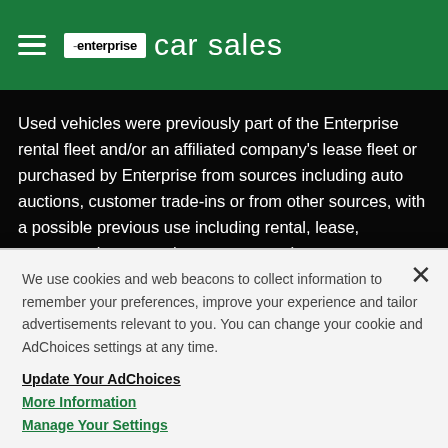enterprise car sales
Used vehicles were previously part of the Enterprise rental fleet and/or an affiliated company's lease fleet or purchased by Enterprise from sources including auto auctions, customer trade-ins or from other sources, with a possible previous use including rental, lease, transportation network company or other use.
Home | About Enterprise Car Sales | Contact Us |
We use cookies and web beacons to collect information to remember your preferences, improve your experience and tailor advertisements relevant to you. You can change your cookie and AdChoices settings at any time.
Update Your AdChoices
More Information
Manage Your Settings